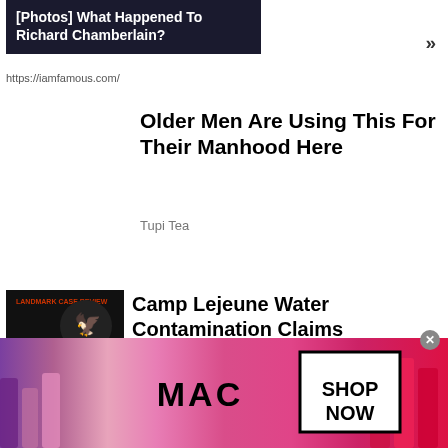[Figure (screenshot): Ad thumbnail with dark background showing text: [Photos] What Happened To Richard Chamberlain?]
https://iamfamous.com/
Older Men Are Using This For Their Manhood Here
Tupi Tea
[Figure (screenshot): Camp Lejeune ad thumbnail with dark background showing Camp Lejeune Toxic Water Lawsuit text and eagle graphic]
Camp Lejeune Water Contamination Claims
TruLaw
14. The sweets of love are mixed with tears. (Robert Herrick)
[Figure (photo): MAC cosmetics advertisement banner showing lipsticks in purple, pink and red colors with MAC logo and SHOP NOW button]